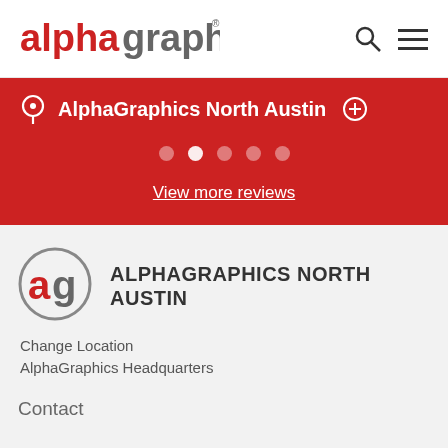alphagraphics [logo with search and menu icons]
[Figure (logo): AlphaGraphics logo in red and grey text on white header bar, with search and hamburger menu icons on the right]
AlphaGraphics North Austin [location pin icon, plus/circle icon] — red banner with dot navigation and View more reviews link
[Figure (logo): AlphaGraphics 'ag' circular logo mark in grey circle with red a and grey g text]
ALPHAGRAPHICS NORTH AUSTIN
Change Location
AlphaGraphics Headquarters
Contact